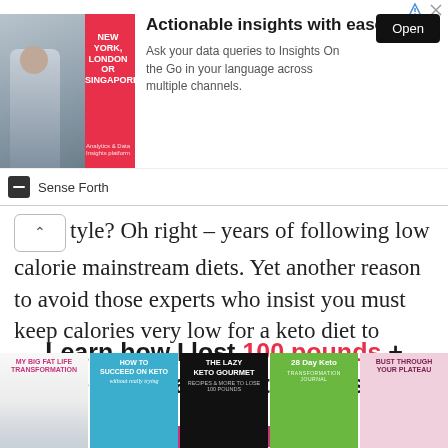[Figure (other): Advertisement banner for Sense Forth: 'Actionable insights with ease' with a business professional photo, Open button, and Sense Forth branding.]
tyle? Oh right – years of following low calorie mainstream diets. Yet another reason to avoid those experts who insist you must keep calories very low for a keto diet to work.
Learn how I lost 100 pounds + easily maintain that loss!
[Figure (illustration): Pink rounded rectangle button reading 'Read My Books!' with a white arrow cursor pointing up-right.]
[Figure (illustration): Row of 5 book covers: My Big Fat Life Transformation, How to Succeed on Keto without really trying, The Lazy Keto Gourmet, 28 Day Keto Transformation Journal, Bust Through Your Plateau.]